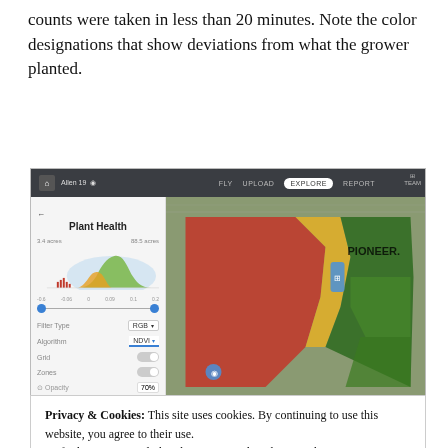counts were taken in less than 20 minutes. Note the color designations that show deviations from what the grower planted.
[Figure (screenshot): Screenshot of a drone/UAV plant health mapping application showing 'Allen 19' field with navigation bar (FLY, UPLOAD, EXPLORE, REPORT), a left sidebar with Plant Health panel showing histogram, RGB filter type, NDVI algorithm, Grid and Zones toggles, and Opacity at 70%. The main map area shows an aerial view with a field colored in NDVI heat map colors (red indicating poor health on the left, yellow/green in the middle, dark green indicating healthy on the right). A PIONEER logo watermark is visible.]
Privacy & Cookies: This site uses cookies. By continuing to use this website, you agree to their use.
To find out more, including how to control cookies, see here:
Cookie Policy
Close and accept
stress.